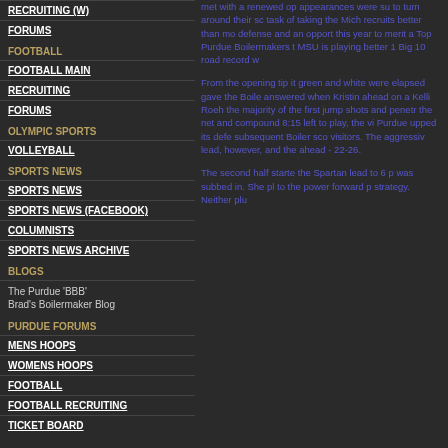RECRUITING (W)
FORUMS
FOOTBALL
FOOTBALL MAIN
RECRUITING
FORUMS
OLYMPIC SPORTS
VOLLEYBALL
SPORTS NEWS
SPORTS NEWS
SPORTS NEWS (FACEBOOK)
COLUMNISTS
SPORTS NEWS ARCHIVE
BLOGS
The Purdue 'BBB' Brad's Boilermaker Blog
PURDUE FORUMS
MENS HOOPS
WOMENS HOOPS
FOOTBALL
FOOTBALL RECRUITING
TICKET BOARD
met with a renewed op appearances were su to turn around their sc task of taking the Mich recruits better than mo defense and an opport this year to merit a Top Purdue Boilermakers t MSU is playing better 1 Big 10 road record w
From the opening tip it green and white were elapsed gave the Boile answered when Kristin ahead on a Kelli Roeh the majority of the first jump shots and penetr the net and compound 8:15 left to play, the vi Purdue upped its defe subsequent Boiler sco visitors. The aggressiv lead, however, and the ahead - 22-26.
The second half starte the Spartan lead to 6 p was subbed in. She pl to the power forward p strategy. Neither plu